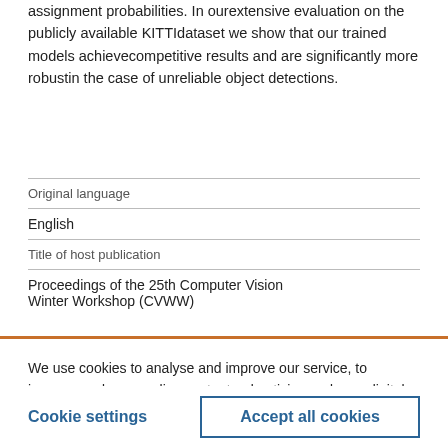assignment probabilities. In ourextensive evaluation on the publicly available KITTIdataset we show that our trained models achievecompetitive results and are significantly more robustin the case of unreliable object detections.
| Original language |  |
| English |  |
| Title of host publication |  |
| Proceedings of the 25th Computer Vision Winter Workshop (CVWW) |  |
We use cookies to analyse and improve our service, to improve and personalise content, advertising and your digital experience. We also share information about your use of our site with our social media, advertising and analytics partners.  Cookie Policy
Cookie settings
Accept all cookies